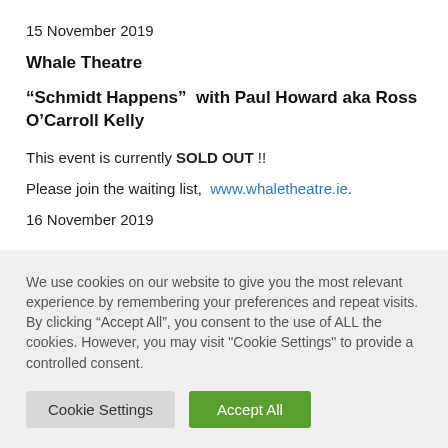15 November 2019
Whale Theatre
“Schmidt Happens”  with Paul Howard aka Ross O’Carroll Kelly
This event is currently SOLD OUT !!
Please join the waiting list,  www.whaletheatre.ie.
16 November 2019
We use cookies on our website to give you the most relevant experience by remembering your preferences and repeat visits. By clicking “Accept All”, you consent to the use of ALL the cookies. However, you may visit “Cookie Settings” to provide a controlled consent.